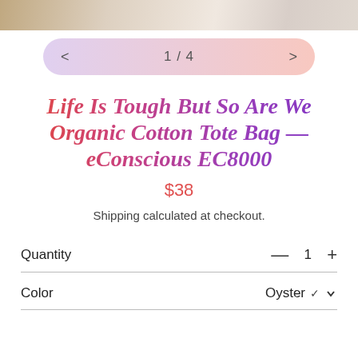[Figure (photo): Partial image of cotton plant at top of page]
< 1 / 4 >
Life Is Tough But So Are We Organic Cotton Tote Bag — eConscious EC8000
$38
Shipping calculated at checkout.
Quantity — 1 +
Color Oyster